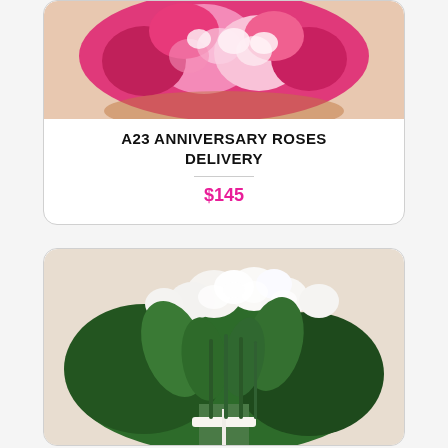[Figure (photo): Close-up photo of pink and white roses bouquet]
A23 ANNIVERSARY ROSES DELIVERY
$145
[Figure (photo): White roses bouquet with green stems tied with a white ribbon]